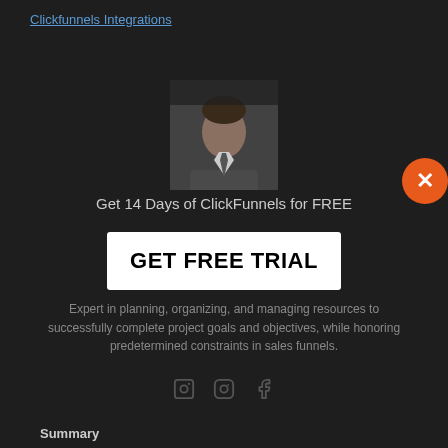Clickfunnels Integrations
[Figure (photo): Headshot of a man in a suit against a dark background]
Get 14 Days of ClickFunnels for FREE
GET FREE TRIAL
Expert in planning, organizing, and managing resources to successfully complete project goals and objectives, while honoring predetermined constraints in sales funnels.
[Figure (infographic): Social media icons: LinkedIn, Instagram, Facebook]
Summary